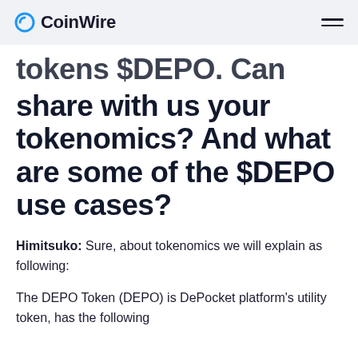CoinWire
tokens $DEPO. Can you share with us your tokenomics? And what are some of the $DEPO use cases?
Himitsuko: Sure, about tokenomics we will explain as following:
The DEPO Token (DEPO) is DePocket platform's utility token, has the following